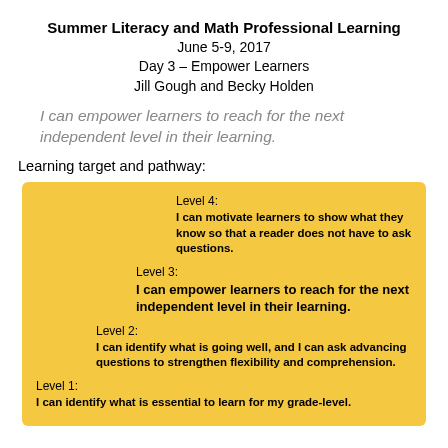Summer Literacy and Math Professional Learning
June 5-9, 2017
Day 3 – Empower Learners
Jill Gough and Becky Holden
I can empower learners to reach for the next independent level in their learning.
Learning target and pathway:
[Figure (infographic): Yellow box with learning progression levels 1-4. Level 4: I can motivate learners to show what they know so that a reader does not have to ask questions. Level 3: I can empower learners to reach for the next independent level in their learning. Level 2: I can identify what is going well, and I can ask advancing questions to strengthen flexibility and comprehension. Level 1: I can identify what is essential to learn for my grade-level.]